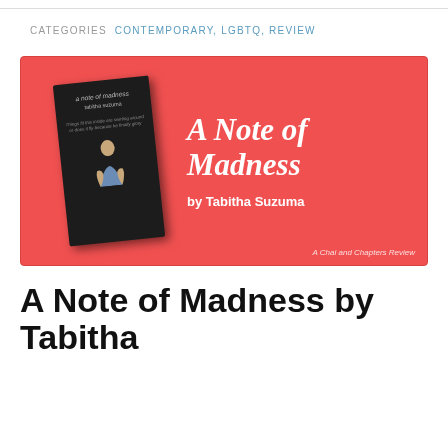CATEGORIES  CONTEMPORARY, LGBTQ, REVIEW
[Figure (illustration): Book banner with red/coral background showing the book cover of 'A Note of Madness' by Tabitha Suzuma (dark cover with person crouching) on the left, and the book title 'A Note of Madness' in white script font with 'by Tabitha Suzuma' in bold white text on the right. Credit reads 'A Chai and Chapters Review'.]
A Note of Madness by Tabitha